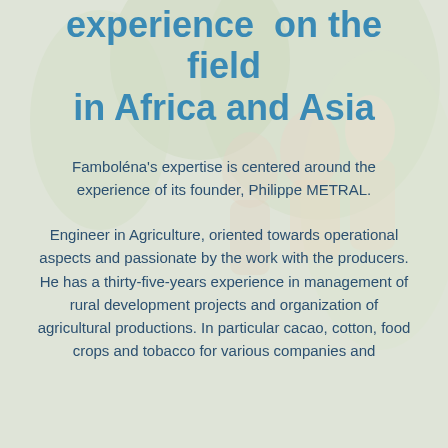experience  on the field in Africa and Asia
Famboléna's expertise is centered around the experience of its founder, Philippe METRAL.
Engineer in Agriculture, oriented towards operational aspects and passionate by the work with the producers. He has a thirty-five-years experience in management of rural development projects and organization of agricultural productions. In particular cacao, cotton, food crops and tobacco for various companies and